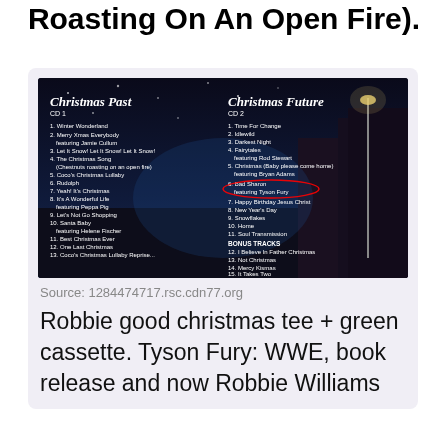Roasting On An Open Fire).
[Figure (photo): Album cover image for a two-CD Christmas compilation showing 'Christmas Past CD 1' and 'Christmas Future CD 2' track listings overlaid on a snowy night street scene. CD 2 track 6 'Bad Sharon featuring Tyson Fury' is circled in red.]
Source: 1284474717.rsc.cdn77.org
Robbie good christmas tee + green cassette. Tyson Fury: WWE, book release and now Robbie Williams